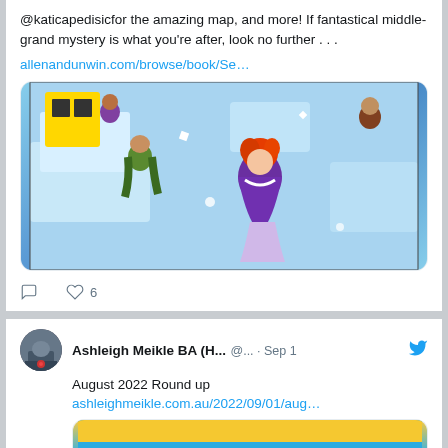@katicapedisicfor the amazing map, and more! If fantastical middle-grand mystery is what you're after, look no further . . .
allenandunwin.com/browse/book/Se…
[Figure (illustration): Comic book style illustration showing characters running/falling in dynamic poses. A girl with red/orange hair wearing a purple dress is central, with other characters around her in an action scene with blue and white background.]
6
Ashleigh Meikle BA (H...
@... · Sep 1
August 2022 Round up
ashleighmeikle.com.au/2022/09/01/aug…
[Figure (photo): Book cover or promotional image with blue background and yellow text reading 'Hard Book' with decorative floral elements]